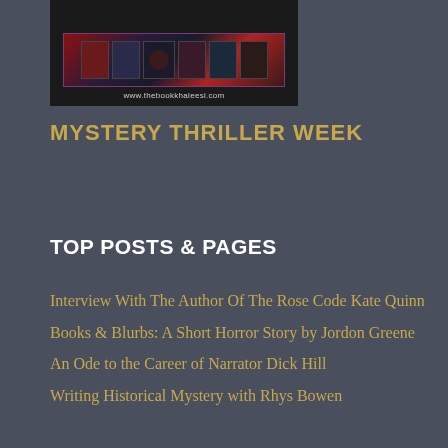[Figure (screenshot): Banner image for thebookkhaleesi.com showing a dark header with book cover thumbnails and the website URL www.thebookkhaleesi.com]
MYSTERY THRILLER WEEK
TOP POSTS & PAGES
Interview With The Author Of The Rose Code Kate Quinn
Books & Blurbs: A Short Horror Story by Jordon Greene
An Ode to the Career of Narrator Dick Hill
Writing Historical Mystery with Rhys Bowen